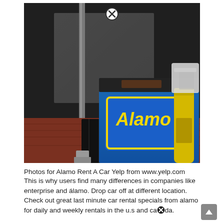[Figure (photo): Photo of an Alamo Rent A Car outdoor kiosk/booth with a blue counter displaying the Alamo logo in yellow letters. Background shows dark mesh/tarp, a metal pole, red brick flooring, and a yellow bollard. A white chair is visible on the right.]
Photos for Alamo Rent A Car Yelp from www.yelp.com
This is why users find many differences in companies like enterprise and álamo. Drop car off at different location. Check out great last minute car rental specials from alamo for daily and weekly rentals in the u.s and caⓧda.